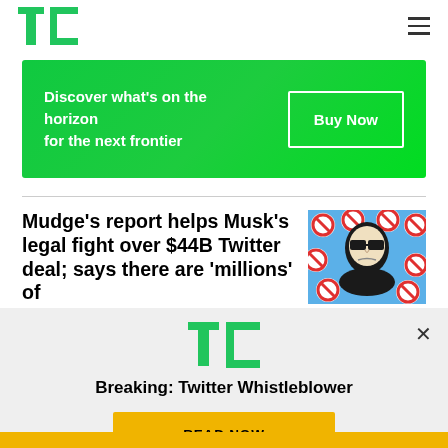TechCrunch
[Figure (infographic): Green gradient banner advertisement. Text: Discover what's on the horizon for the next frontier. Button: Buy Now]
Mudge's report helps Musk's legal fight over $44B Twitter deal; says there are 'millions' of
[Figure (illustration): Pop art style illustration of a person in sunglasses with prohibition signs on a blue background]
[Figure (logo): TechCrunch TC logo in green]
Breaking: Twitter Whistleblower
READ NOW